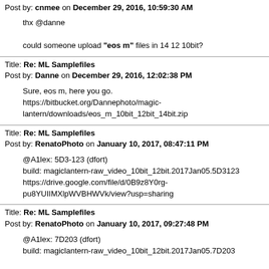Post by: cnmee on December 29, 2016, 10:59:30 AM
thx @danne

could someone upload "eos m" files in 14 12 10bit?
Title: Re: ML Samplefiles
Post by: Danne on December 29, 2016, 12:02:38 PM
Sure, eos m, here you go.
https://bitbucket.org/Dannephoto/magic-lantern/downloads/eos_m_10bit_12bit_14bit.zip
Title: Re: ML Samplefiles
Post by: RenatoPhoto on January 10, 2017, 08:47:11 PM
@A1lex: 5D3-123 (dfort)
build: magiclantern-raw_video_10bit_12bit.2017Jan05.5D3123
https://drive.google.com/file/d/0B9z8Y0rg-pu8YUIIMXlpWVBHWVk/view?usp=sharing
Title: Re: ML Samplefiles
Post by: RenatoPhoto on January 10, 2017, 09:27:48 PM
@A1lex: 7D203 (dfort)
build: magiclantern-raw_video_10bit_12bit.2017Jan05.7D203